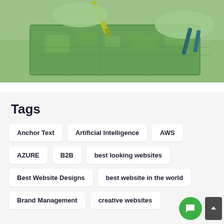[Figure (photo): A person in a lab coat using a yellow screwdriver to work on a green circuit board/PCB, with tools visible in the background. Image has a green tint overlay.]
Tags
Anchor Text
Artificial Intelligence
AWS
AZURE
B2B
best looking websites
Best Website Designs
best website in the world
Brand Management
creative websites